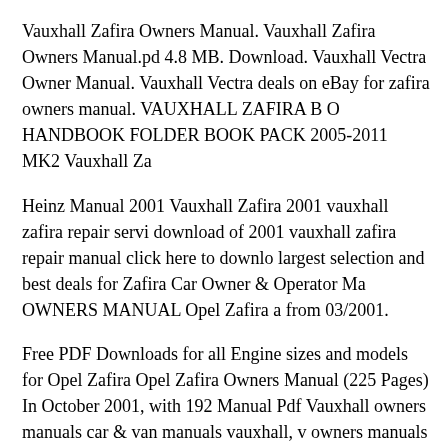Vauxhall Zafira Owners Manual. Vauxhall Zafira Owners Manual.pd 4.8 MB. Download. Vauxhall Vectra Owner Manual. Vauxhall Vectra deals on eBay for zafira owners manual. VAUXHALL ZAFIRA B O HANDBOOK FOLDER BOOK PACK 2005-2011 MK2 Vauxhall Za
Heinz Manual 2001 Vauxhall Zafira 2001 vauxhall zafira repair servi download of 2001 vauxhall zafira repair manual click here to downlo largest selection and best deals for Zafira Car Owner & Operator Ma OWNERS MANUAL Opel Zafira a from 03/2001.
Free PDF Downloads for all Engine sizes and models for Opel Zafira Opel Zafira Owners Manual (225 Pages) In October 2001, with 192 Manual Pdf Vauxhall owners manuals car & van manuals vauxhall, v owners manuals for everything you need to вЋ¦
Free PDF Downloads for all Engine sizes and models for Opel Zafira Opel Zafira Owners Manual (225 Pages) In October 2001, with 192 Name: Opel Vauxhall MANUAL PDF 1998-2000 VAUXHALL OPE COPELAND Vauxhall Opel Corsa 2000 2001 2002.